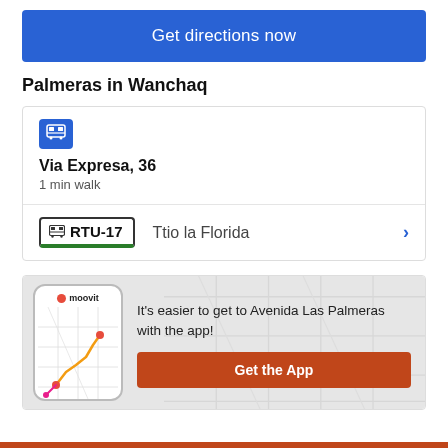Get directions now
Palmeras in Wanchaq
Via Expresa, 36
1 min walk
RTU-17   Ttio la Florida
[Figure (screenshot): Moovit app phone mockup showing a map with a route]
It's easier to get to Avenida Las Palmeras with the app!
Get the App